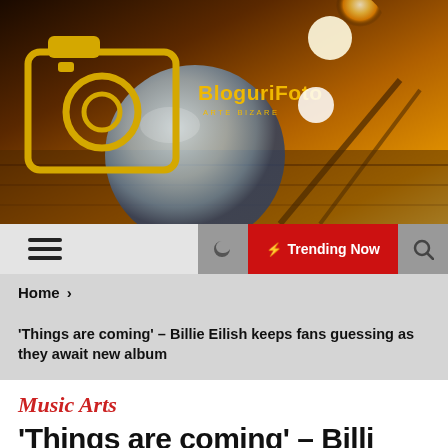[Figure (screenshot): Website header banner with bokeh sunset background, crystal ball on wooden surface, and BloguriFoto logo with camera icon]
[Figure (screenshot): Navigation bar with hamburger menu, moon/dark mode icon, red Trending Now button, and search icon]
Home >
'Things are coming' – Billie Eilish keeps fans guessing as they await new album
Music Arts
'Things are coming' – Billi…